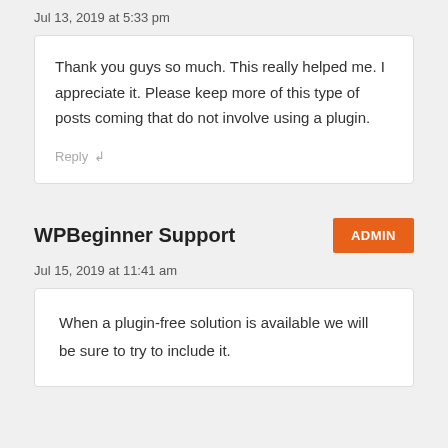Jul 13, 2019 at 5:33 pm
Thank you guys so much. This really helped me. I appreciate it. Please keep more of this type of posts coming that do not involve using a plugin.
Reply ↲
WPBeginner Support
Jul 15, 2019 at 11:41 am
When a plugin-free solution is available we will be sure to try to include it.